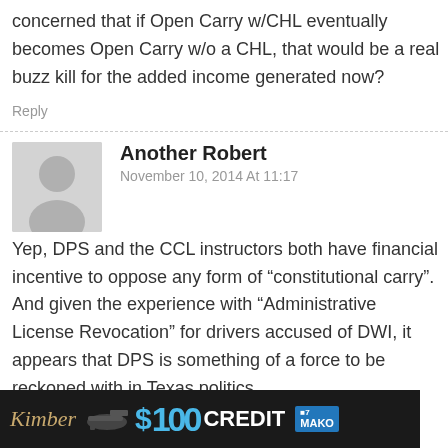concerned that if Open Carry w/CHL eventually becomes Open Carry w/o a CHL, that would be a real buzz kill for the added income generated now?
Reply
Another Robert
November 10, 2014 At 11:17
Yep, DPS and the CCL instructors both have financial incentive to oppose any form of “constitutional carry”. And given the experience with “Administrative License Revocation” for drivers accused of DWI, it appears that DPS is something of a force to be reckoned with in Texas politics.
Reply
"
[Figure (infographic): Advertisement banner: Kimber logo, handgun image, $100 CREDIT text in blue, MAKO channel branding on dark background]